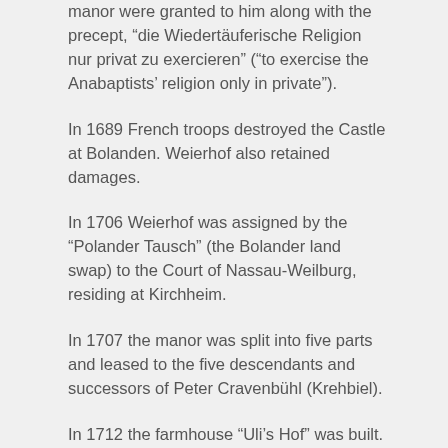manor were granted to him along with the precept, “die Wiedertäuferische Religion nur privat zu exercieren” (“to exercise the Anabaptists’ religion only in private”).
In 1689 French troops destroyed the Castle at Bolanden. Weierhof also retained damages.
In 1706 Weierhof was assigned by the “Polander Tausch” (the Bolander land swap) to the Court of Nassau-Weilburg, residing at Kirchheim.
In 1707 the manor was split into five parts and leased to the five descendants and successors of Peter Cravenbühl (Krehbiel).
In 1712 the farmhouse “Uli’s Hof” was built. It stands today more or less in its original form. In the same period, two other farms were built in what is now known as “Old Weierhof.” For church services the residents gathered in the upstairs room of the